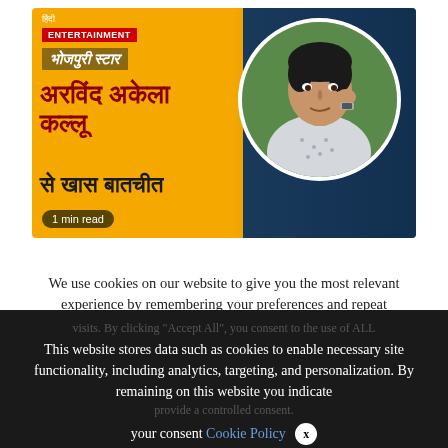[Figure (photo): Article banner with yellow-orange background. Top left shows 'हिंदी' text, red ENTERTAINMENT badge, golden 'भोजपुरी स्टार' label, large dark red Hindi headline 'अरविंद अकेला कल्लू', 'से खास बातचीत', '1 min read' badge. Right side has circular photo of a young man in light shirt resting chin on fist.]
We use cookies on our website to give you the most relevant experience by remembering your preferences and repeat
This website stores data such as cookies to enable necessary site functionality, including analytics, targeting, and personalization. By remaining on this website you indicate your consent Cookie Policy ✕